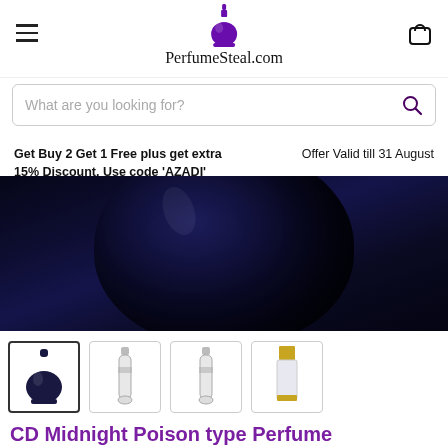PerfumeSteal.com
What are you looking for?
Get Buy 2 Get 1 Free plus get extra 15% Discount. Use code 'AZADI'   Offer Valid till 31 August
[Figure (photo): Close-up of a dark blue/black round perfume bottle (Dior Midnight Poison) against a dark background]
[Figure (photo): Four product thumbnails: dark round perfume bottle, two roller/travel spray bottles, and a rectangular clear bottle with gold cap]
CD Midnight Poison type Perfume
Rs. 300.00 – Rs. 350.00